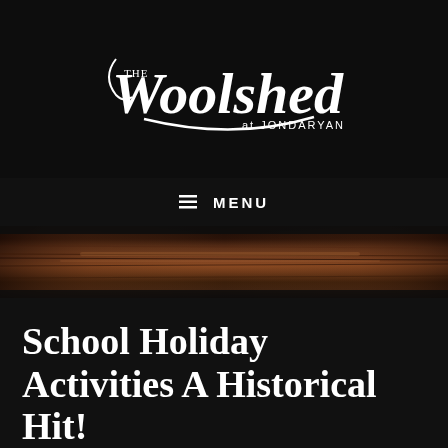[Figure (logo): The Woolshed at Jondaryan logo — white text on black background with decorative script and swash]
☰  MENU
[Figure (photo): Close-up photograph of worn wooden planks or a wooden beam, warm brown tones]
School Holiday Activities A Historical Hit!
JANUARY 25, 2019